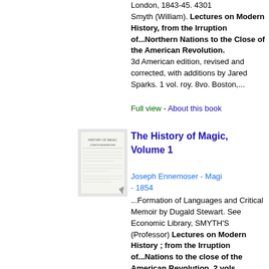London, 1843-45. 4301
Smyth (William). Lectures on Modern History, from the Irruption of...Northern Nations to the Close of the American Revolution. 3d American edition, revised and corrected, with additions by Jared Sparks. 1 vol. roy. 8vo. Boston,...
Full view - About this book
[Figure (photo): Thumbnail image of book cover for The History of Magic, Volume 1]
The History of Magic, Volume 1
Joseph Ennemoser - Magic - 1854
...Formation of Languages and Critical Memoir by Dugald Stewart. See Economic Library, SMYTH'S (Professor) Lectures on Modern History ; from the Irruption of...Nations to the close of the American Revolution. 2 vols.
Lectures on the French Revolution. With Index. 2